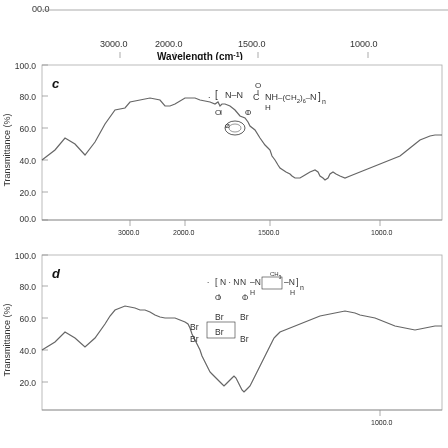[Figure (continuous-plot): Top partial IR spectrum (cut off at top) showing x-axis: Wavelength (cm-1) with labels 3000.0, 2000.0, 1500.0, 1000.0. Y-axis label '00.0' visible.]
[Figure (continuous-plot): IR spectrum panel c: Transmittance (%) vs Wavelength (cm-1) for polymer with phthalic hydrazide and hexamethylene diamine repeating unit. Y-axis from 00.0 to 100.0, shows broad absorption around 3000, strong absorption near 1500. Chemical structure inset shown.]
[Figure (continuous-plot): IR spectrum panel d: Transmittance (%) vs Wavelength (cm-1) for brominated polymer with tolylene diamine repeating unit. Y-axis from 20.0 to 100.0 (partial), shows broad absorption around 3000, strong absorption near 1500. Chemical structure with Br substituents inset shown.]